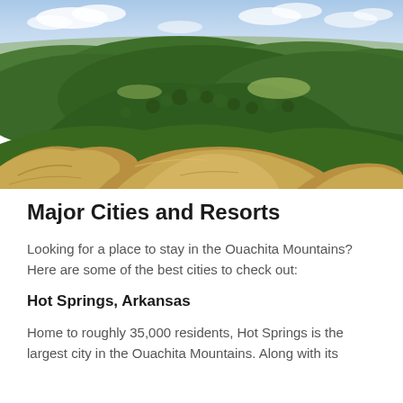[Figure (photo): Aerial landscape view of the Ouachita Mountains showing rocky outcroppings in the foreground, dense green forested hills in the middle ground, and flat plains extending to the horizon under a partly cloudy sky.]
Major Cities and Resorts
Looking for a place to stay in the Ouachita Mountains? Here are some of the best cities to check out:
Hot Springs, Arkansas
Home to roughly 35,000 residents, Hot Springs is the largest city in the Ouachita Mountains. Along with its